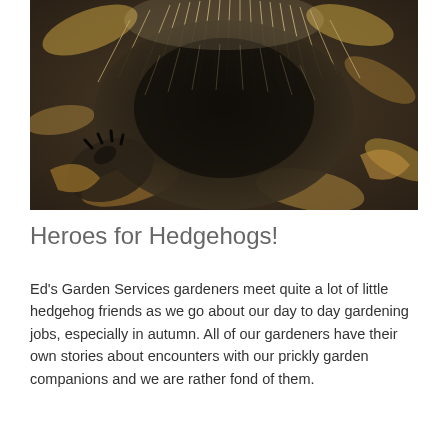[Figure (photo): Close-up photograph of a hedgehog curled up or viewed from above, showing its spines and face, surrounded by autumn leaves. The hedgehog's dark body and spiky quills are prominent against a background of dried leaves.]
Heroes for Hedgehogs!
Ed's Garden Services gardeners meet quite a lot of little hedgehog friends as we go about our day to day gardening jobs, especially in autumn. All of our gardeners have their own stories about encounters with our prickly garden companions and we are rather fond of them.